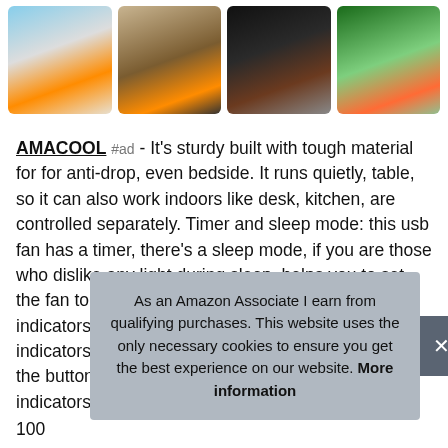[Figure (photo): Four product/lifestyle thumbnail images in a row showing the AMACOOL fan product and people using it outdoors and indoors]
AMACOOL #ad - It's sturdy built with tough material for for anti-drop, even bedside. It runs quietly, table, so it can also work indoors like desk, kitchen, are controlled separately. Timer and sleep mode: this usb fan has a timer, there's a sleep mode, if you are those who dislike any light during sleep, helps you to set the fan to run 1h/2h/4h/8h as you need; it has 4 indicators to show the timer settings and another 4 indicators to show remaining power, press and hold the button as instructed, it will turn off all the indicators to gain a whole darkness
100 fan 36h 9hours at highest speed; it's a battery operated fan that you
As an Amazon Associate I earn from qualifying purchases. This website uses the only necessary cookies to ensure you get the best experience on our website. More information